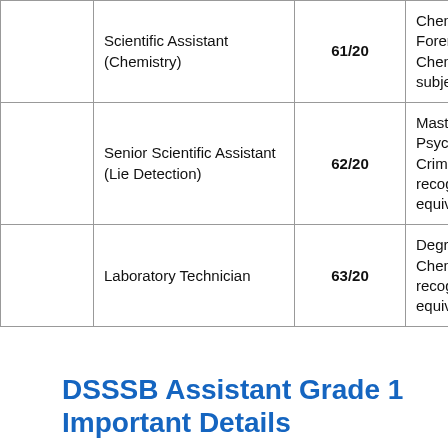|  | Post | Post Code | Essential Qualification |
| --- | --- | --- | --- |
|  | Scientific Assistant (Chemistry) | 61/20 | Chemistry or Forensic S... Chemistry as subject at B.S... |
|  | Senior Scientific Assistant (Lie Detection) | 62/20 | Master's Deg... Psychology o... Criminology f... recognized u... equivalent |
|  | Laboratory Technician | 63/20 | Degree in Sci... Chemistry fro... recognized U... equivalent. |
DSSSB Assistant Grade 1 Important Details